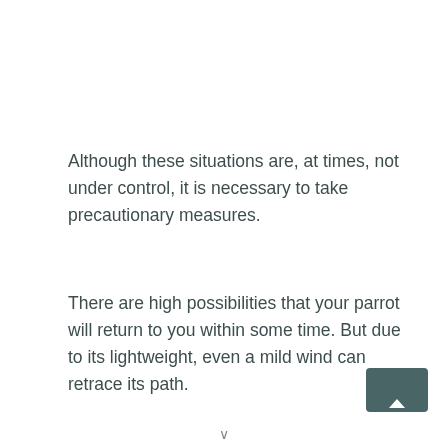Although these situations are, at times, not under control, it is necessary to take precautionary measures.
There are high possibilities that your parrot will return to you within some time. But due to its lightweight, even a mild wind can retrace its path.
[Figure (other): A dark teal navigation button with an upward-pointing chevron arrow, located at the bottom-right corner of the page.]